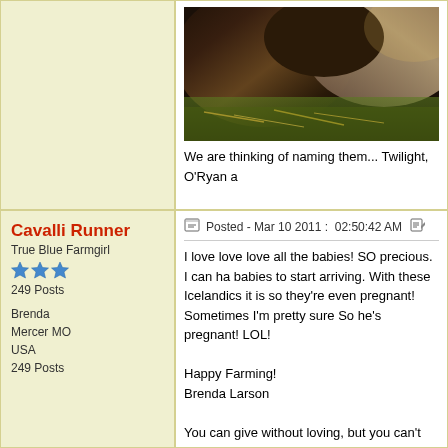[Figure (photo): Close-up photo of dark-furred animals (likely goats or sheep) with hay/grass visible]
We are thinking of naming them... Twilight, O'Ryan a

Come visit my blog
http://angieruralliving.blogspot.com/

God Bless
Angie-amomfly
#1038
Cavalli Runner
True Blue Farmgirl
249 Posts

Brenda
Mercer MO
USA
249 Posts
Posted - Mar 10 2011 :  02:50:42 AM
I love love love all the babies! SO precious. I can ha babies to start arriving. With these Icelandics it is so they're even pregnant! Sometimes I'm pretty sure So he's pregnant! LOL!

Happy Farming!
Brenda Larson

You can give without loving, but you can't love witho